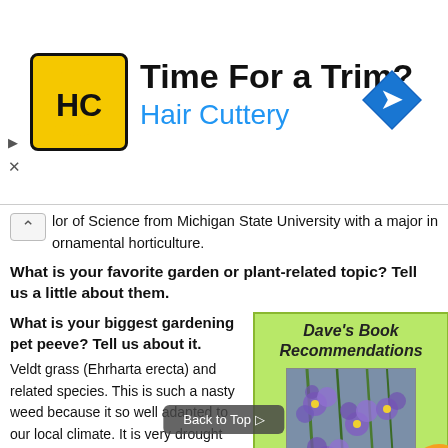[Figure (infographic): Hair Cuttery advertisement banner with logo, title 'Time For a Trim?' and subtitle 'Hair Cuttery', with a blue navigation arrow icon on the right.]
lor of Science from Michigan State University with a major in ornamental horticulture.
What is your favorite garden or plant-related topic? Tell us a little about them.
What is your biggest gardening pet peeve? Tell us about it.
Veldt grass (Ehrharta erecta) and related species. This is such a nasty weed because it so well adapted to our local climate. It is very drought and shade tolerant, and produces seeds prolifically. In just the past decade or so it
[Figure (other): Dave's Book Recommendations box with green background showing a book cover 'California Native Plants for the Garden' with purple flowers.]